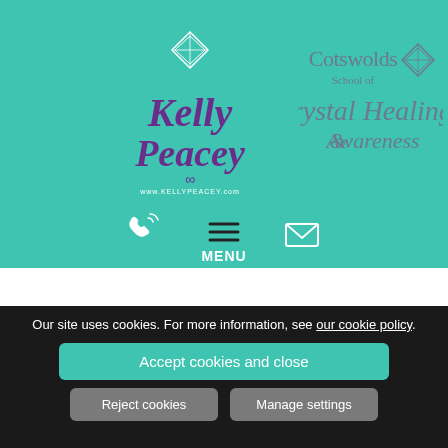[Figure (logo): Kelly Peacey logo - purple cursive script with infinity symbol and geometric diamond shape, www.kellypeacey.com]
[Figure (logo): Cotswolds School of Crystal Healing & Awareness logo with geometric diamond shape, grey/purple serif font]
[Figure (infographic): Navigation bar with phone icon, hamburger menu (3 lines) labeled MENU, and email envelope icon on teal background]
Happy New Year - 2022
Our site uses cookies. For more information, see our cookie policy.
Accept cookies and close
Reject cookies
Manage settings